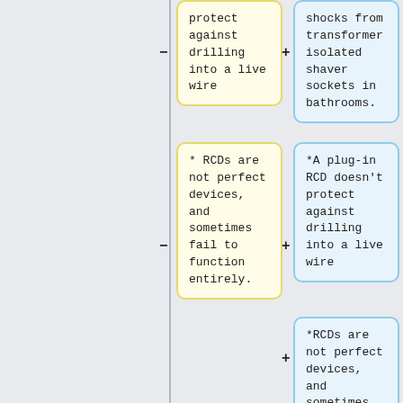protect against drilling into a live wire
shocks from transformer isolated shaver sockets in bathrooms.
* RCDs are not perfect devices, and sometimes fail to function entirely.
*A plug-in RCD doesn't protect against drilling into a live wire
*RCDs are not perfect devices, and sometimes fail to function entirely.